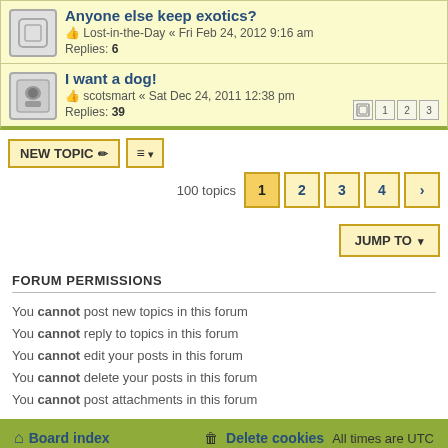Anyone else keep exotics? — Lost-in-the-Day « Fri Feb 24, 2012 9:16 am — Replies: 6
I want a dog! — scotsmart « Sat Dec 24, 2011 12:38 pm — Replies: 39
NEW TOPIC | Sort | 100 topics | 1 2 3 4 > | JUMP TO
FORUM PERMISSIONS
You cannot post new topics in this forum
You cannot reply to topics in this forum
You cannot edit your posts in this forum
You cannot delete your posts in this forum
You cannot post attachments in this forum
Board index | Delete cookies | All times are UTC
Powered by phpBB® Forum Software © phpBB Limited
Style by phpBB Spain